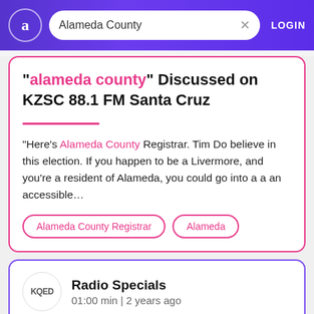Alameda County — LOGIN
"alameda county" Discussed on KZSC 88.1 FM Santa Cruz
"Here's Alameda County Registrar. Tim Do believe in this election. If you happen to be a Livermore, and you're a resident of Alameda, you could go into a a an accessible…
Alameda County Registrar
Alameda
Radio Specials
01:00 min | 2 years ago
Officer charged in fatal Walmart